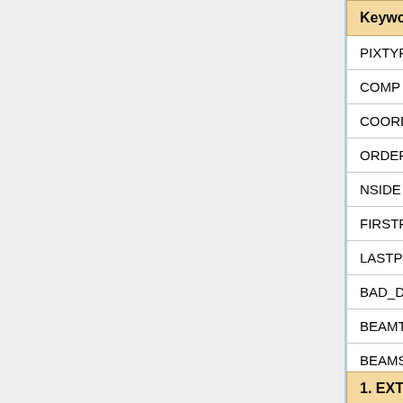| Keyword | Data Type | Val... |
| --- | --- | --- |
| PIXTYPE | string | HEA... |
| COMP | string | com... |
| COORDSYS | string | GA... |
| ORDERING | string | NE... |
| NSIDE | Int | 204... |
| FIRSTPIX | Int*4 | 0 |
| LASTPIX | Int*4 | 503... |
| BAD_DATA | Real*4 | -1.6... |
| BEAMTYPE | string | GA... |
| BEAMSIZE | Real*4 | size... |
| PSM-VERS | string |  |
1. EXTNAME = 'SIM-MAP' : Data columns